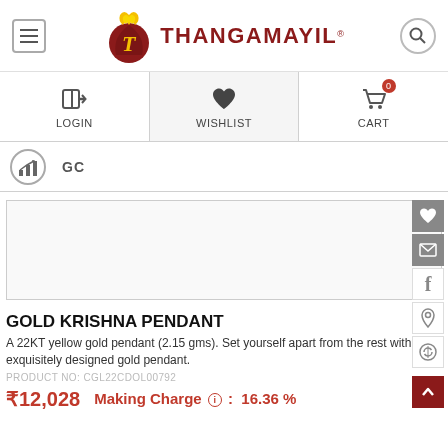[Figure (logo): Thangamayil jewellery brand logo with stylized bird/flame icon and brand name]
[Figure (screenshot): Navigation bar with Login, Wishlist, Cart (0) icons]
[Figure (screenshot): Category bar with bar-chart icon and GC label]
[Figure (photo): Product image area for Gold Krishna Pendant (empty/white box) with social share buttons on right]
GOLD KRISHNA PENDANT
A 22KT yellow gold pendant (2.15 gms). Set yourself apart from the rest with this exquisitely designed gold pendant.
PRODUCT NO: CGL22CDOL00792
₹12,028    Making Charge ⓘ :  16.36 %